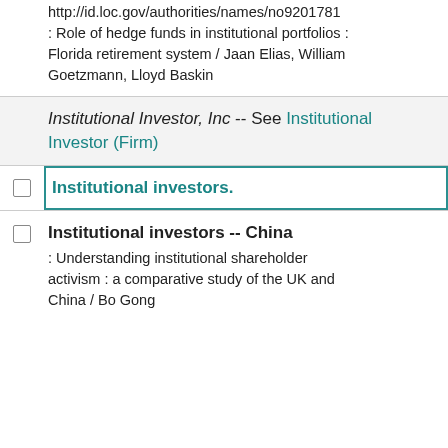http://id.loc.gov/authorities/names/no9201781 : Role of hedge funds in institutional portfolios : Florida retirement system / Jaan Elias, William Goetzmann, Lloyd Baskin
Institutional Investor, Inc -- See Institutional Investor (Firm)
Institutional investors.
Institutional investors -- China : Understanding institutional shareholder activism : a comparative study of the UK and China / Bo Gong